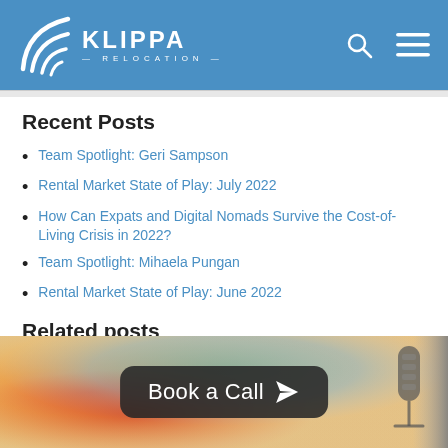[Figure (logo): Klippa Relocation logo with white swoosh/wave icon and text 'KLIPPA RELOCATION' on a blue header bar with search and hamburger menu icons]
Recent Posts
Team Spotlight: Geri Sampson
Rental Market State of Play: July 2022
How Can Expats and Digital Nomads Survive the Cost-of-Living Crisis in 2022?
Team Spotlight: Mihaela Pungan
Rental Market State of Play: June 2022
Related posts
[Figure (photo): Colorful blurred image (map/globe) with a microphone visible on the right. Overlaid dark rounded button with text 'Book a Call' and a paper plane/send icon.]